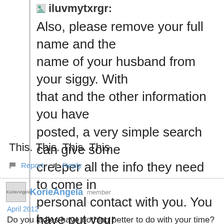imagelluvmytxrgr: Also, please remove your full name and the name of your husband from your siggy. With that and the other information you have posted, a very simple search can give some creeper all the info they need to come in personal contact with you. You have put your entire family in danger.  PERSEC is extremely important.
This. This. This. This.
Report  Reply
KorieAngela  KorieAngela  member  April 2012
Do you ladies have nothing better to do with your time?